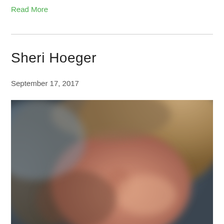Read More
Sheri Hoeger
September 17, 2017
[Figure (photo): Blurred close-up portrait photo of a person with blonde hair, showing face from a low angle, smiling slightly.]